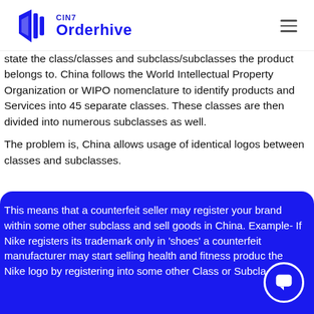CIN7 Orderhive
state the class/classes and subclass/subclasses the product belongs to. China follows the World Intellectual Property Organization or WIPO nomenclature to identify products and Services into 45 separate classes. These classes are then divided into numerous subclasses as well.
The problem is, China allows usage of identical logos between classes and subclasses.
This means that a counterfeit seller may register your brand within some other subclass and sell goods in China. Example- If Nike registers its trademark only in 'shoes' a counterfeit manufacturer may start selling health and fitness produc the Nike logo by registering into some other Class or Subcla....